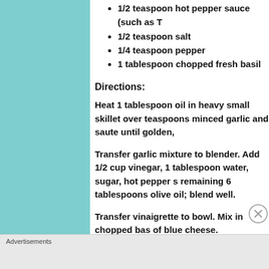1/2 teaspoon hot pepper sauce (such as T
1/2 teaspoon salt
1/4 teaspoon pepper
1 tablespoon chopped fresh basil
Directions:
Heat 1 tablespoon oil in heavy small skillet over teaspoons minced garlic and saute until golden,
Transfer garlic mixture to blender. Add 1/2 cup vinegar, 1 tablespoon water, sugar, hot pepper s remaining 6 tablespoons olive oil; blend well.
Transfer vinaigrette to bowl. Mix in chopped bas of blue cheese. (Vinaigrette can be prepared 2 c refrigerate.)
Advertisements